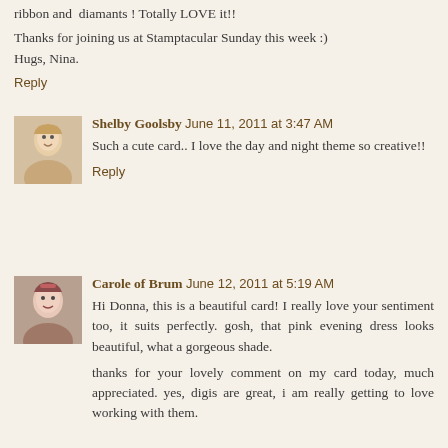ribbon and  diamants ! Totally LOVE it!!
Thanks for joining us at Stamptacular Sunday this week :) Hugs, Nina.
Reply
Shelby Goolsby  June 11, 2011 at 3:47 AM
Such a cute card.. I love the day and night theme so creative!!
Reply
Carole of Brum  June 12, 2011 at 5:19 AM
Hi Donna, this is a beautiful card! I really love your sentiment too, it suits perfectly. gosh, that pink evening dress looks beautiful, what a gorgeous shade.
thanks for your lovely comment on my card today, much appreciated. yes, digis are great, i am really getting to love working with them.